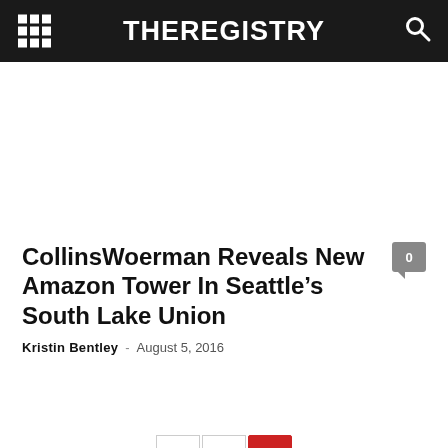THEREGISTRY
CollinsWoerman Reveals New Amazon Tower In Seattle’s South Lake Union
Kristin Bentley - August 5, 2016
0
< 1 2